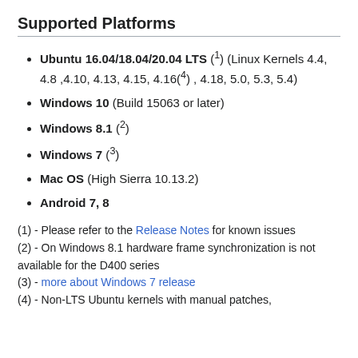Supported Platforms
Ubuntu 16.04/18.04/20.04 LTS (1) (Linux Kernels 4.4, 4.8 ,4.10, 4.13, 4.15, 4.16(4) , 4.18, 5.0, 5.3, 5.4)
Windows 10 (Build 15063 or later)
Windows 8.1 (2)
Windows 7 (3)
Mac OS (High Sierra 10.13.2)
Android 7, 8
(1) - Please refer to the Release Notes for known issues
(2) - On Windows 8.1 hardware frame synchronization is not available for the D400 series
(3) - more about Windows 7 release
(4) - Non-LTS Ubuntu kernels with manual patches,